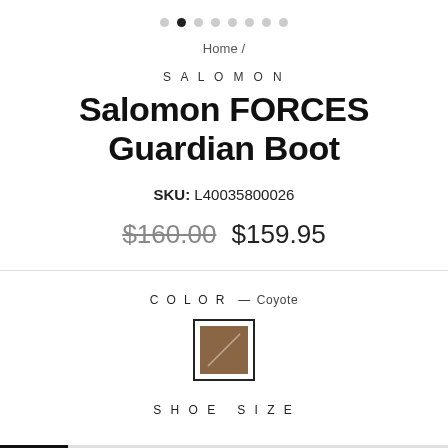[Figure (other): Carousel dot navigation with 8 dots, second dot active]
Home /
SALOMON
Salomon FORCES Guardian Boot
SKU: L40035800026
$160.00  $159.95
COLOR — Coyote
[Figure (illustration): Coyote color swatch square with diagonal line pattern on brown background]
SHOE SIZE